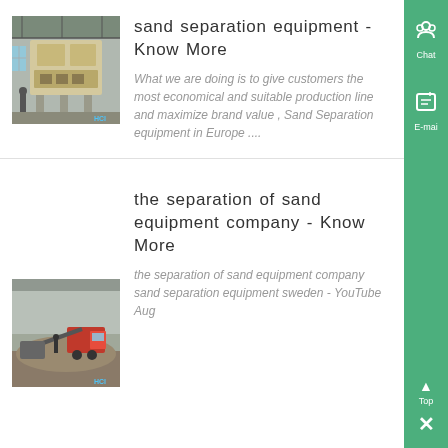[Figure (photo): Industrial sand separation equipment inside a warehouse/factory building]
sand separation equipment - Know More
What we are doing is to give customers the most economical and suitable production line and maximize brand value , Sand Separation equipment in Europe ....
[Figure (photo): Sand separation equipment outdoors on a construction/mining site]
the separation of sand equipment company - Know More
the separation of sand equipment company sand separation equipment sweden - YouTube Aug